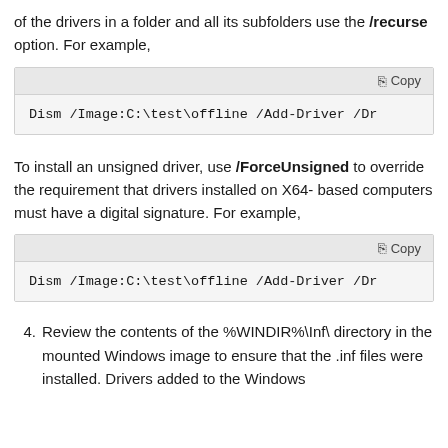of the drivers in a folder and all its subfolders use the /recurse option. For example,
[Figure (screenshot): Code block with toolbar showing 'Copy' button and monospace code: Dism /Image:C:\test\offline /Add-Driver /Dr]
To install an unsigned driver, use /ForceUnsigned to override the requirement that drivers installed on X64-based computers must have a digital signature. For example,
[Figure (screenshot): Code block with toolbar showing 'Copy' button and monospace code: Dism /Image:C:\test\offline /Add-Driver /Dr]
4. Review the contents of the %WINDIR%\Inf\ directory in the mounted Windows image to ensure that the .inf files were installed. Drivers added to the Windows